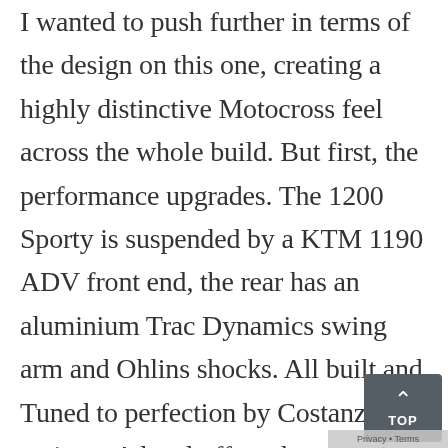I wanted to push further in terms of the design on this one, creating a highly distinctive Motocross feel across the whole build. But first, the performance upgrades. The 1200 Sporty is suspended by a KTM 1190 ADV front end, the rear has an aluminium Trac Dynamics swing arm and Ohlins shocks. All built and Tuned to perfection by Costanzo racing – A local off road suspension guru. Starting with the already highly regarded KTM forks and using only the best parts available the is a dream to ride. The work completed on